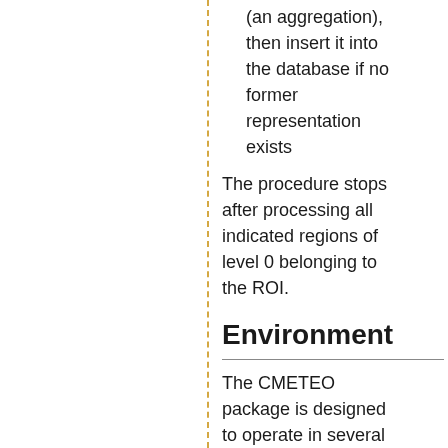(an aggregation), then insert it into the database if no former representation exists
The procedure stops after processing all indicated regions of level 0 belonging to the ROI.
Environment
The CMETEO package is designed to operate in several environments (i.e. database schemas)